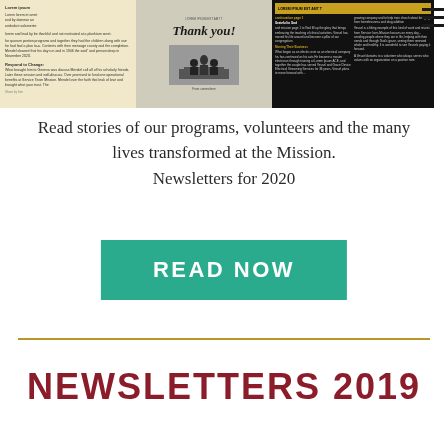[Figure (screenshot): Three newsletter thumbnail images side by side: left is a yellow-toned newsletter page, middle shows a 'Thank you!' message with silhouetted figures, right is a dark-background newsletter with gold header and two-column text layout. A hamburger menu icon appears top right.]
Read stories of our programs, volunteers and the many lives transformed at the Mission.
Newsletters for 2020
[Figure (other): Teal/green button with white bold text reading 'READ NOW']
NEWSLETTERS 2019